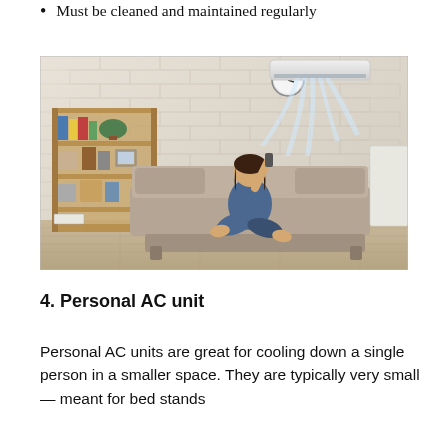Must be cleaned and maintained regularly
[Figure (photo): A woman sitting cross-legged on a taupe sofa in a living room, pointing a remote control toward a wall-mounted mini-split air conditioning unit near the ceiling. The background shows a white brick wall, a wooden shelving unit with books and plants, and a clock on the wall. Cold air is illustrated streaming down from the AC unit.]
4. Personal AC unit
Personal AC units are great for cooling down a single person in a smaller space. They are typically very small — meant for bed stands